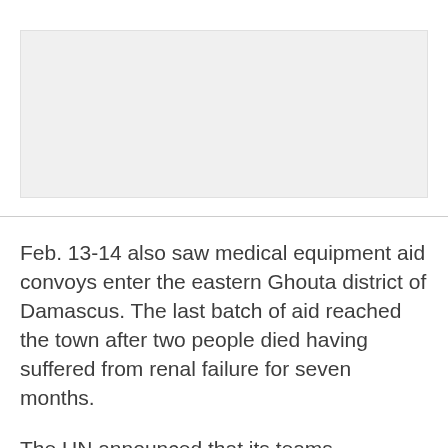[Figure (other): Image placeholder, light gray background]
Feb. 13-14 also saw medical equipment aid convoys enter the eastern Ghouta district of Damascus. The last batch of aid reached the town after two people died having suffered from renal failure for seven months.
The UN announced that its teams airdropped 21-tons of humanitarian aid onto Deir ez-Zor, which remains under Daesh terrorists' control.
Local sources also stated that further aid convoys announced by the UN for Madaya,